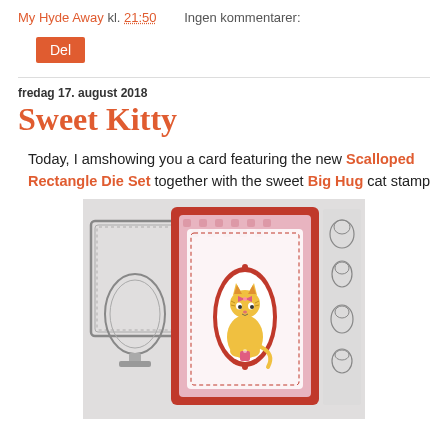My Hyde Away kl. 21:50   Ingen kommentarer:
Del
fredag 17. august 2018
Sweet Kitty
Today, I amshowing you a card featuring the new Scalloped Rectangle Die Set together with the sweet Big Hug cat stamp
[Figure (photo): A handmade greeting card featuring a pink heart-patterned background with a red scalloped rectangle frame. A white stitched oval frame holds a cute illustrated cat (tabby with a pink bow). To the left are metal die cut frames (oval and rectangle). To the right are clear rubber stamps featuring cartoon cats.]